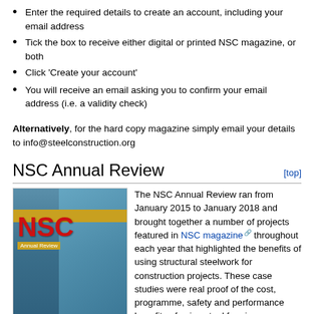Enter the required details to create an account, including your email address
Tick the box to receive either digital or printed NSC magazine, or both
Click 'Create your account'
You will receive an email asking you to confirm your email address (i.e. a validity check)
Alternatively, for the hard copy magazine simply email your details to info@steelconstruction.org
NSC Annual Review
[Figure (photo): Cover of NSC Annual Review magazine showing a tall glass building with a crane against a blue sky, with red NSC logo text and yellow banner]
The NSC Annual Review ran from January 2015 to January 2018 and brought together a number of projects featured in NSC magazine throughout each year that highlighted the benefits of using structural steelwork for construction projects. These case studies were real proof of the cost, programme, safety and performance benefits of using steel framing.

Each article told a different story and while they may have been very different projects, in all cases the use of structural framing had...